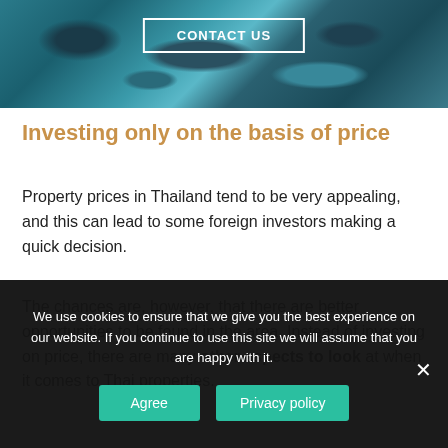[Figure (photo): Aerial photo of rocky coastline with turquoise water, 'CONTACT US' button overlay in white border]
Investing only on the basis of price
Property prices in Thailand tend to be very appealing, and this can lead to some foreign investors making a quick decision.
The chances are, however, that there are better opportunities to be found in the area. Instead of investing on price, there are many other aspects to look at when it comes to Thai properties.
We use cookies to ensure that we give you the best experience on our website. If you continue to use this site we will assume that you are happy with it.